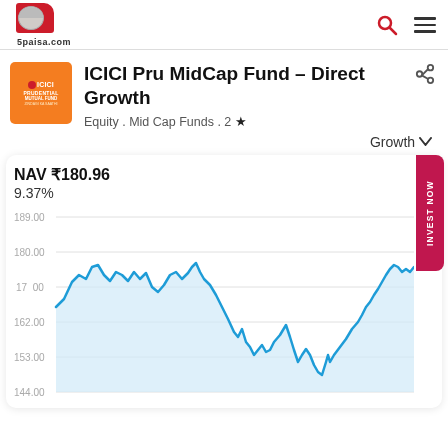5paisa.com
ICICI Pru MidCap Fund – Direct Growth
Equity . Mid Cap Funds . 2 ★
Growth ∨
NAV ₹180.96
9.37%
[Figure (continuous-plot): Line chart showing NAV performance of ICICI Pru MidCap Fund - Direct Growth. Y-axis shows values from 144.00 to 189.00. The line starts around 165, rises to ~182, fluctuates, dips to ~153, recovers partially, dips again to ~148, then rises sharply to ~178 at the right edge. Blue line with light blue fill area below.]